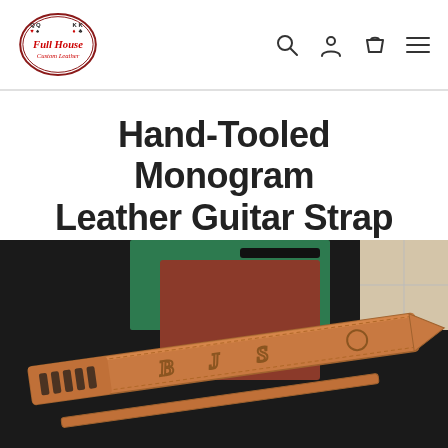[Figure (logo): Full House Custom Leather logo — oval shape with playing cards (queens and kings), decorative red script text 'Full House' and 'Custom Leather']
Hand-Tooled Monogram Leather Guitar Strap
[Figure (photo): Photo of a tan/caramel colored hand-tooled leather guitar strap laid diagonally on a workbench. The strap has hand-tooled monogram letters (B, J, S) carved into it, adjustment slots at one end, and a pointed tip at the other. Green cutting mat and brown leather piece visible in background.]